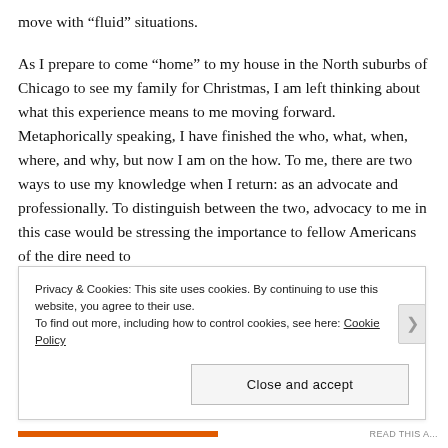move with “fluid” situations.
As I prepare to come “home” to my house in the North suburbs of Chicago to see my family for Christmas, I am left thinking about what this experience means to me moving forward. Metaphorically speaking, I have finished the who, what, when, where, and why, but now I am on the how. To me, there are two ways to use my knowledge when I return: as an advocate and professionally. To distinguish between the two, advocacy to me in this case would be stressing the importance to fellow Americans of the dire need to
Privacy & Cookies: This site uses cookies. By continuing to use this website, you agree to their use.
To find out more, including how to control cookies, see here: Cookie Policy
Close and accept